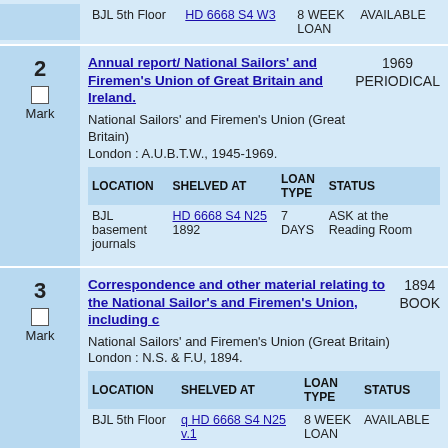| LOCATION | SHELVED AT | LOAN TYPE | STATUS |
| --- | --- | --- | --- |
| BJL 5th Floor | HD 6668 S4 W3 | 8 WEEK LOAN | AVAILABLE |
Annual report/ National Sailors' and Firemen's Union of Great Britain and Ireland.
National Sailors' and Firemen's Union (Great Britain)
London : A.U.B.T.W., 1945-1969.
1969 PERIODICAL
| LOCATION | SHELVED AT | LOAN TYPE | STATUS |
| --- | --- | --- | --- |
| BJL basement journals | HD 6668 S4 N25  1892 | 7 DAYS | ASK at the Reading Room |
Correspondence and other material relating to the National Sailor's and Firemen's Union, including c
National Sailors' and Firemen's Union (Great Britain)
London : N.S. & F.U, 1894.
1894 BOOK
| LOCATION | SHELVED AT | LOAN TYPE | STATUS |
| --- | --- | --- | --- |
| BJL 5th Floor | q HD 6668 S4 N25 v.1 | 8 WEEK LOAN | AVAILABLE |
| BJL 5th Floor | q HD 6668 S4 N25 v.2 | 8 WEEK LOAN | AVAILABLE |
The Dublin dispute : a statement of the
1913